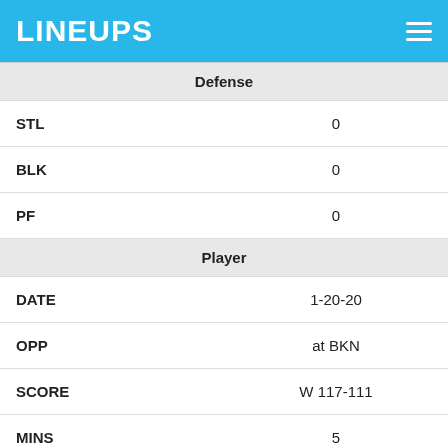LINEUPS
|  |  |
| --- | --- |
| Defense |  |
| STL | 0 |
| BLK | 0 |
| PF | 0 |
| Player |  |
| DATE | 1-20-20 |
| OPP | at BKN |
| SCORE | W 117-111 |
| MINS | 5 |
| Fantasy Points |  |
| FPTS | 5.7 |
| FPTS/MIN | 1.1 |
| Offense |  |